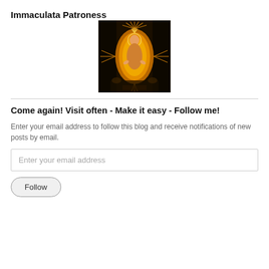Immaculata Patroness
[Figure (photo): Religious artwork depicting the Immaculate Conception — a golden glowing figure of the Virgin Mary in an oval mandorla with radiating rays, set against a dark background with surrounding figures.]
Come again! Visit often - Make it easy - Follow me!
Enter your email address to follow this blog and receive notifications of new posts by email.
Enter your email address
Follow